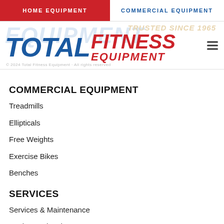HOME EQUIPMENT | COMMERCIAL EQUIPMENT
[Figure (logo): Total Fitness Equipment logo with blue TOTAL and red FITNESS EQUIPMENT text, hamburger menu icon, and watermark background text]
COMMERCIAL EQUIPMENT
Treadmills
Ellipticals
Free Weights
Exercise Bikes
Benches
SERVICES
Services & Maintenance
Design & Planning